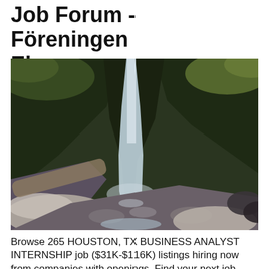Job Forum - Föreningen Ekonomerna
[Figure (photo): Landscape nature photo showing a tall waterfall cascading down between steep moss-covered rocky cliffs, with large boulders and a rocky riverbed in the foreground, and sparse trees visible at the top of the cliffs.]
Browse 265 HOUSTON, TX BUSINESS ANALYST INTERNSHIP job ($31K-$116K) listings hiring now from companies with openings. Find your next job